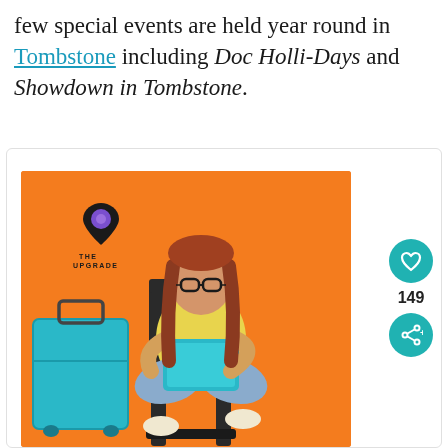few special events are held year round in Tombstone including Doc Holli-Days and Showdown in Tombstone.
[Figure (photo): Photo of a young woman with glasses sitting cross-legged on a chair, working on a teal/cyan laptop, with an orange background wall and a teal suitcase to her left. A logo reading 'THE UPGRADE' with a map pin icon appears on the left side of the image.]